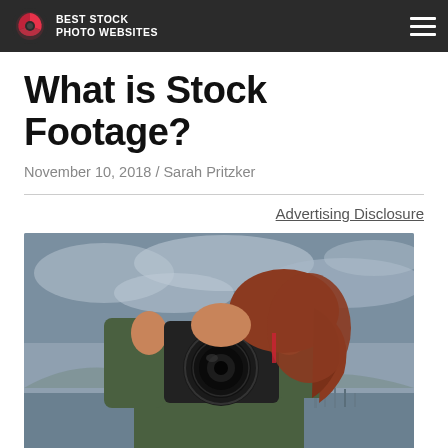BEST STOCK PHOTO WEBSITES
What is Stock Footage?
November 10, 2018 / Sarah Pritzker
Advertising Disclosure
[Figure (photo): Woman holding a DSLR camera up to her face, shooting a photo. She has red/auburn hair and wears a green jacket. Background shows an overcast sky and waterfront with boats.]